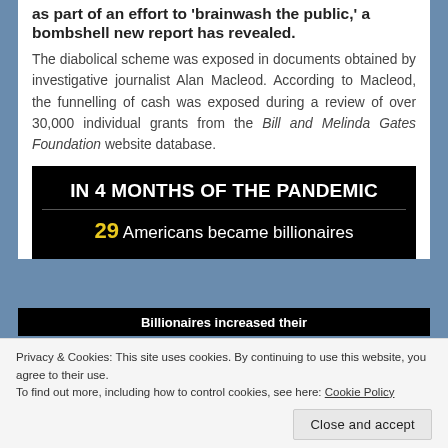as part of an effort to 'brainwash the public,' a bombshell new report has revealed.
The diabolical scheme was exposed in documents obtained by investigative journalist Alan Macleod. According to Macleod, the funnelling of cash was exposed during a review of over 30,000 individual grants from the Bill and Melinda Gates Foundation website database.
[Figure (infographic): Black background infographic reading: IN 4 MONTHS OF THE PANDEMIC / 29 Americans became billionaires]
Privacy & Cookies: This site uses cookies. By continuing to use this website, you agree to their use.
To find out more, including how to control cookies, see here: Cookie Policy
Close and accept
[Figure (infographic): Black background banner with white bold text: Billionaires increased their]